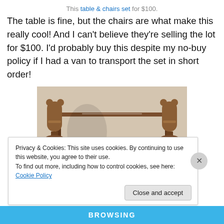This table & chairs set for $100.
The table is fine, but the chairs are what make this really cool! And I can't believe they're selling the lot for $100. I'd probably buy this despite my no-buy policy if I had a van to transport the set in short order!
[Figure (photo): A wooden mid-century table with chairs, photographed indoors against a beige wall. The furniture appears to be a dining set made of dark wood with a simple frame design.]
Privacy & Cookies: This site uses cookies. By continuing to use this website, you agree to their use. To find out more, including how to control cookies, see here: Cookie Policy
Close and accept